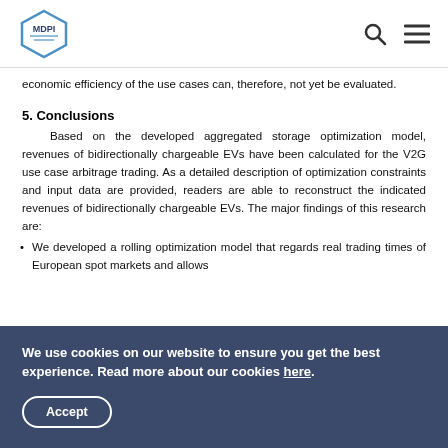MDPI [logo] search menu
economic efficiency of the use cases can, therefore, not yet be evaluated.
5. Conclusions
Based on the developed aggregated storage optimization model, revenues of bidirectionally chargeable EVs have been calculated for the V2G use case arbitrage trading. As a detailed description of optimization constraints and input data are provided, readers are able to reconstruct the indicated revenues of bidirectionally chargeable EVs. The major findings of this research are:
We developed a rolling optimization model that regards real trading times of European spot markets and allows…